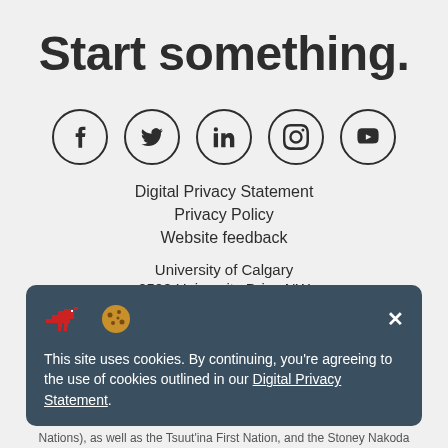Start something.
[Figure (other): Row of five social media icon circles: Facebook, Twitter, LinkedIn, Instagram, YouTube]
Digital Privacy Statement
Privacy Policy
Website feedback
University of Calgary
2500 University Drive NW
Calgary Alberta   T2N 1N4
CANADA
This site uses cookies. By continuing, you're agreeing to the use of cookies outlined in our Digital Privacy Statement.
Nations), as well as the Tsuut'ina First Nation, and the Stoney Nakoda